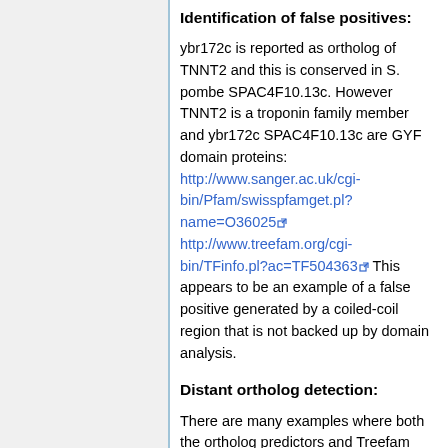Identification of false positives:
ybr172c is reported as ortholog of TNNT2 and this is conserved in S. pombe SPAC4F10.13c. However TNNT2 is a troponin family member and ybr172c SPAC4F10.13c are GYF domain proteins: http://www.sanger.ac.uk/cgi-bin/Pfam/swisspfamget.pl?name=O36025 http://www.treefam.org/cgi-bin/TFinfo.pl?ac=TF504363 This appears to be an example of a false positive generated by a coiled-coil region that is not backed up by domain analysis.
Distant ortholog detection:
There are many examples where both the ortholog predictors and Treefam report false positives (especially for the